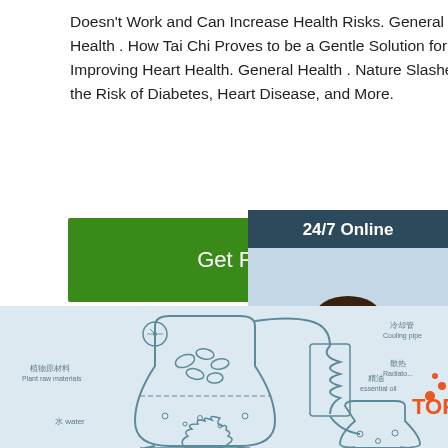Doesn't Work and Can Increase Health Risks. General Health . How Tai Chi Proves to be a Gentle Solution for Improving Heart Health. General Health . Nature Slashes the Risk of Diabetes, Heart Disease, and More.
[Figure (other): Green 'Get Price' button]
[Figure (illustration): 24/7 Online customer service sidebar with woman wearing headset, 'Click here for free chat!' text, and orange QUOTATION button]
[Figure (engineering-diagram): Diagram of essential oil extraction process showing distillation apparatus with labels: 冷却管 Cooling pipe, 植物原材料 Plant raw materials, 散热 Radiato[r], 水 water, 精油 essential oil, with TOP text and orange dots. Light blue background.]